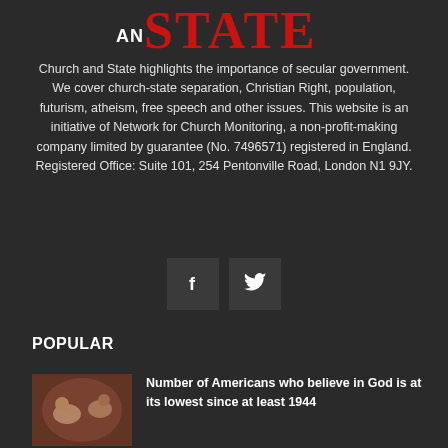[Figure (logo): Church and State logo — large bold red serif text 'STATE' with 'AND' in smaller white text to the left]
Church and State highlights the importance of secular government. We cover church-state separation, Christian Right, population, futurism, atheism, free speech and other issues. This website is an initiative of Network for Church Monitoring, a non-profit-making company limited by guarantee (No. 7496571) registered in England. Registered Office: Suite 101, 254 Pentonville Road, London N1 9JY.
[Figure (other): Social media buttons: Facebook (f) and Twitter (bird icon)]
POPULAR
[Figure (illustration): Thumbnail image of a classical painting (Michelangelo's Creation of Adam)]
Number of Americans who believe in God is at its lowest since at least 1944